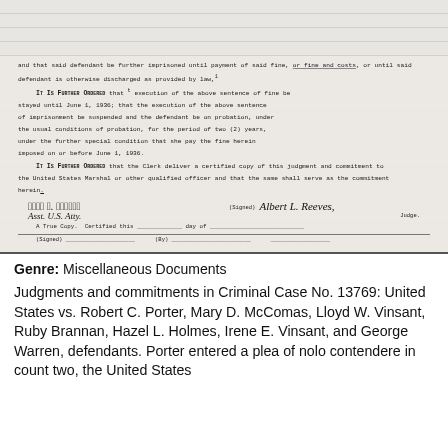[Figure (photo): Scanned legal document page showing typed court text with handwritten signatures. Text includes court orders regarding suspension of sentence, probation conditions, and Clerk delivery instructions. Two signatures appear: one labeled 'Asst. U.S. Atty.' and one labeled '(Signed) Judge' with 'Albert L. Reeves'.]
Genre: Miscellaneous Documents
Judgments and commitments in Criminal Case No. 13769: United States vs. Robert C. Porter, Mary D. McComas, Lloyd W. Vinsant, Ruby Brannan, Hazel L. Holmes, Irene E. Vinsant, and George Warren, defendants. Porter entered a plea of nolo contendere in count two, the United States